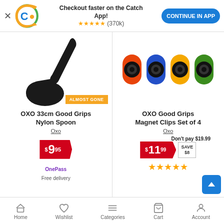[Figure (screenshot): Catch app promotion banner with logo, star rating (370k), and Continue in App button]
[Figure (photo): Black OXO 33cm Good Grips Nylon Spoon product image with ALMOST GONE badge]
OXO 33cm Good Grips Nylon Spoon
Oxo
$9.95
OnePass Free delivery
[Figure (photo): OXO Good Grips Magnet Clips Set of 4 in orange, blue, yellow, green colors]
OXO Good Grips Magnet Clips Set of 4
Oxo
Don't pay $19.99
$11.99 SAVE $8
★★★★★
Home  Wishlist  Categories  Cart  Account